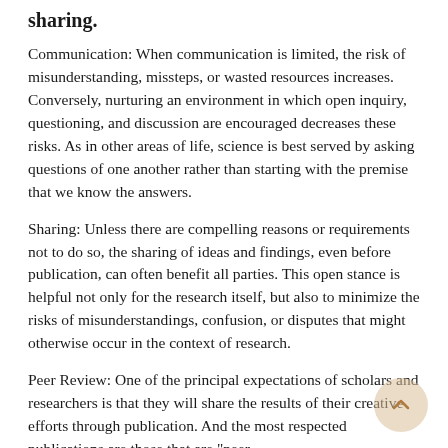sharing.
Communication: When communication is limited, the risk of misunderstanding, missteps, or wasted resources increases. Conversely, nurturing an environment in which open inquiry, questioning, and discussion are encouraged decreases these risks. As in other areas of life, science is best served by asking questions of one another rather than starting with the premise that we know the answers.
Sharing: Unless there are compelling reasons or requirements not to do so, the sharing of ideas and findings, even before publication, can often benefit all parties. This open stance is helpful not only for the research itself, but also to minimize the risks of misunderstandings, confusion, or disputes that might otherwise occur in the context of research.
Peer Review: One of the principal expectations of scholars and researchers is that they will share the results of their creative efforts through publication. And the most respected publications are those that are "peer